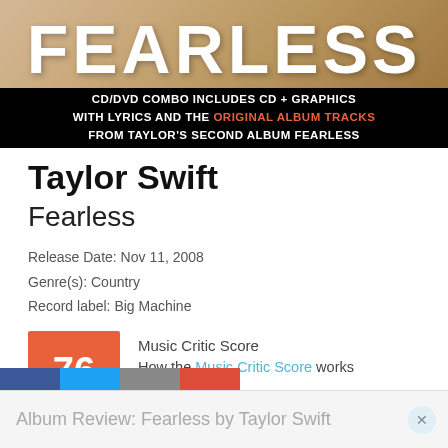[Figure (photo): Album cover banner for Taylor Swift Fearless CD/DVD Combo. Top portion shows 'FEARLESS' text in large gold/white letters on a tan/gold background. Bottom black bar reads: 'CD/DVD COMBO INCLUDES CD + GRAPHICS WITH LYRICS AND THE ORIGINAL ALBUM TRACKS FROM TAYLOR'S SECOND ALBUM FEARLESS']
Taylor Swift
Fearless
Release Date: Nov 11, 2008
Genre(s): Country
Record label: Big Machine
Music Critic Score
How the Music Critic Score works
Album Review: Fearless by Taylor Swift